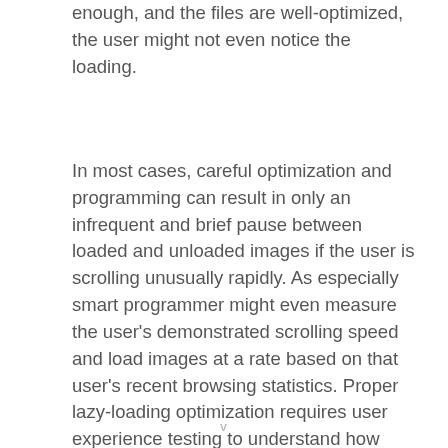enough, and the files are well-optimized, the user might not even notice the loading.
In most cases, careful optimization and programming can result in only an infrequent and brief pause between loaded and unloaded images if the user is scrolling unusually rapidly. As especially smart programmer might even measure the user's demonstrated scrolling speed and load images at a rate based on that user's recent browsing statistics. Proper lazy-loading optimization requires user experience testing to understand how your visitors use your website and how rapidly they can process a batch of images.
v